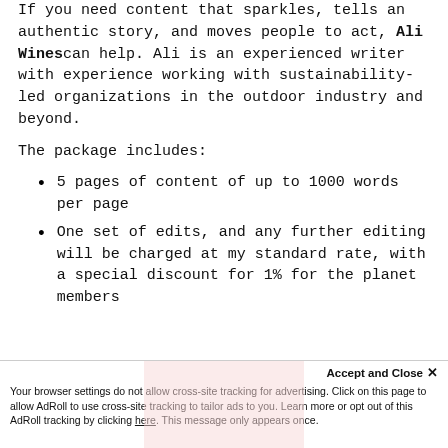If you need content that sparkles, tells an authentic story, and moves people to act, Ali Wines can help. Ali is an experienced writer with experience working with sustainability-led organizations in the outdoor industry and beyond.
The package includes:
5 pages of content of up to 1000 words per page
One set of edits, and any further editing will be charged at my standard rate, with a special discount for 1% for the planet members
Accept and Close ✕ Your browser settings do not allow cross-site tracking for advertising. Click on this page to allow AdRoll to use cross-site tracking to tailor ads to you. Learn more or opt out of this AdRoll tracking by clicking here. This message only appears once.